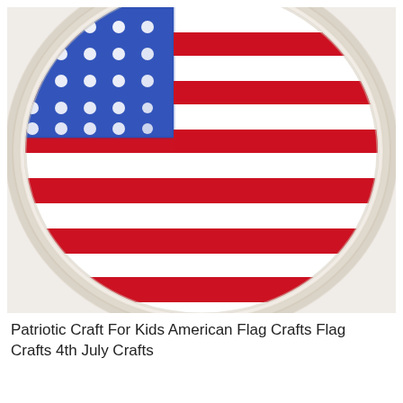[Figure (photo): A paper plate painted as an American flag. The upper left section is painted blue with white polka dots representing stars. The rest of the plate has horizontal red and white stripes painted on it, resembling the American flag. The plate shows the characteristic ridged edge of a paper plate.]
Patriotic Craft For Kids American Flag Crafts Flag Crafts 4th July Crafts